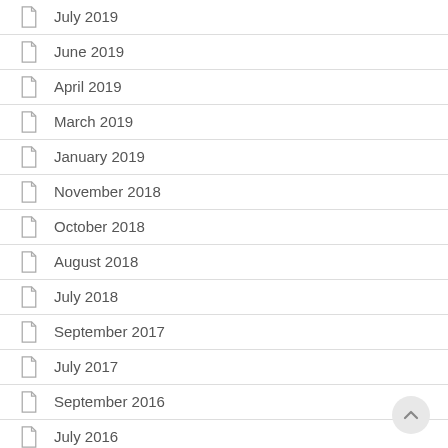July 2019
June 2019
April 2019
March 2019
January 2019
November 2018
October 2018
August 2018
July 2018
September 2017
July 2017
September 2016
July 2016
July 2015